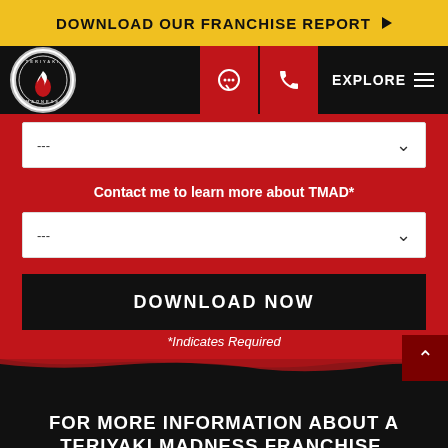DOWNLOAD OUR FRANCHISE REPORT ▶
[Figure (logo): Teriyaki Madness circular logo with flame icon, black background with white circular border]
Contact me to learn more about TMAD*
DOWNLOAD NOW
*Indicates Required
FOR MORE INFORMATION ABOUT A TERIYAKI MADNESS FRANCHISE, CONTACT:
franchise@teriyakimadness.com